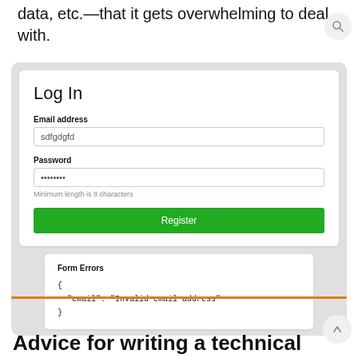data, etc.—that it gets overwhelming to deal with.
[Figure (screenshot): A login form UI showing Email address field with 'sdfgdgfd' entered, Password field with dots and hint 'Minimum length is 8 characters', and a green Register button. Below it a Form Errors panel showing JSON: { "email": "Invalid email address" }]
Advice for writing a technical